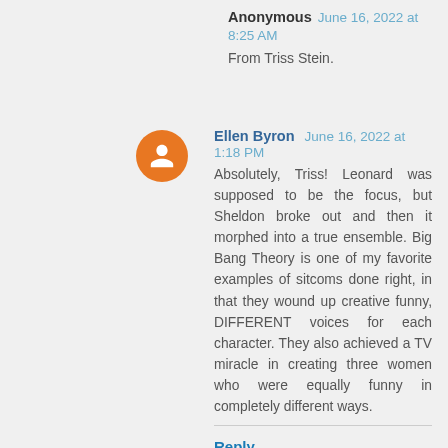Anonymous June 16, 2022 at 8:25 AM
From Triss Stein.
Ellen Byron June 16, 2022 at 1:18 PM
Absolutely, Triss! Leonard was supposed to be the focus, but Sheldon broke out and then it morphed into a true ensemble. Big Bang Theory is one of my favorite examples of sitcoms done right, in that they wound up creative funny, DIFFERENT voices for each character. They also achieved a TV miracle in creating three women who were equally funny in completely different ways.
Reply
Flora Church June 16, 2022 at 8:25 AM
I've got Bayou Book Thief on the top of my TBR list, as soon as I can get my hands on it, Ellen! And another